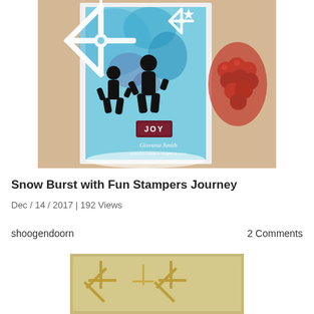[Figure (photo): A handmade greeting card with a blue watercolor background, white die-cut snowflakes, black silhouette children figures, and a dark red 'JOY' sentiment panel. Signed 'Giovana Smith' with blog URL. Background shows frosted grapes and a wooden table surface.]
Snow Burst with Fun Stampers Journey
Dec / 14 / 2017 | 192 Views
shoogendoorn
2 Comments
[Figure (photo): Partial view of a second handmade card with a tan/gold background featuring golden snowflake die-cuts or stamps.]